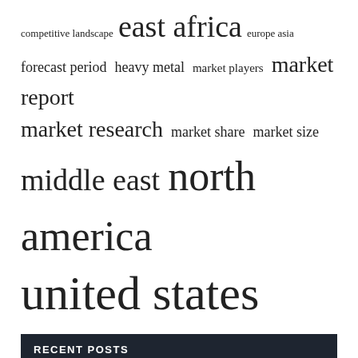[Figure (infographic): Tag cloud with terms of varying font sizes: competitive landscape, east africa, europe asia, forecast period, heavy metal, market players, market report, market research, market share, market size, middle east, north america, united states]
RECENT POSTS
Is there enough metal to replace the oil? | Counter-currents
9 Same Day Personal Loans | fox business
How to Boost Microfinance in the United States
Machine Head / Øf Kingdøm And Crøwn a deliciously solid Heavy Metal album |